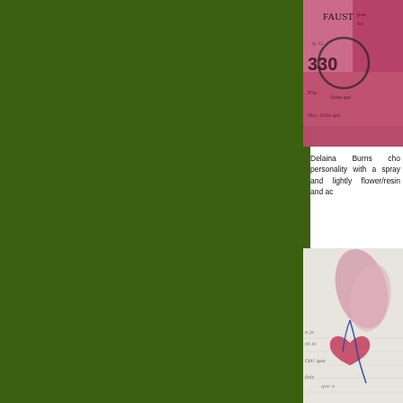[Figure (photo): Cropped photo showing pink/magenta textured stamp or collage with text fragments including 'FAUST', '330', and other text in Gothic/blackletter style on a pink background.]
Delaina Burns cho personality with a spray and lightly flower/resin and ac
[Figure (photo): Photo showing a pink flower/petal and what appears to be a red butterfly or heart shape on a page of printed text (French text visible: 'a je', 'nt to', 'Oh! que', 'fois', 'que o').]